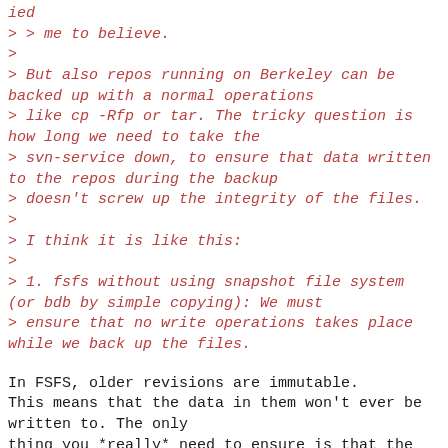ied
> > me to believe.
>
> But also repos running on Berkeley can be backed up with a normal operations
> like cp -Rfp or tar. The tricky question is how long we need to take the
> svn-service down, to ensure that data written to the repos during the backup
> doesn't screw up the integrity of the files.
>
> I think it is like this:
>
> 1. fsfs without using snapshot file system (or bdb by simple copying): We must
> ensure that no write operations takes place while we back up the files.
In FSFS, older revisions are immutable.
This means that the data in them won't ever be written to. The only
thing you *really* need to ensure is that the db/current file gets
copied first, so that it doesn't reference a revision file that appeared
since you started your copy.
Other than that, something like rsync should make this
*very* fast.